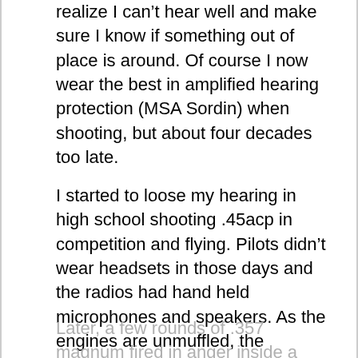realize I can't hear well and make sure I know if something out of place is around. Of course I now wear the best in amplified hearing protection (MSA Sordin) when shooting, but about four decades too late.
I started to loose my hearing in high school shooting .45acp in competition and flying. Pilots didn't wear headsets in those days and the radios had hand held microphones and speakers. As the engines are unmuffled, the speakers were turned up as high as possible to hear over the engine roar.
Later, a few rounds of .357 magnum fired in anger inside a house really rang my bells and finally being too...